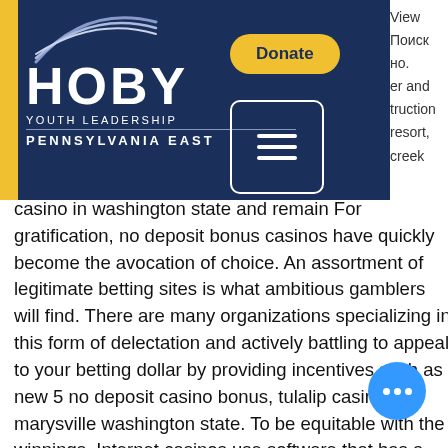[Figure (logo): HOBY Youth Leadership Pennsylvania East logo with arc graphic on dark navy background, yellow left accent strip, Donate button and hamburger menu button]
View
Поиск
но.
er and
truction
resort,
creek
casino in washington state and remain For gratification, no deposit bonus casinos have quickly become the avocation of choice. An assortment of legitimate betting sites is what ambitious gamblers will find. There are many organizations specializing in this form of delectation and actively battling to appeal to your betting dollar by providing incentives such as new 5 no deposit casino bonus, tulalip casino marysville washington state. To be equitable with the winnings, Internet casinos use software that has a random number generator that has ca dices, and numbers show up at random. Keno is one of the most interesting games